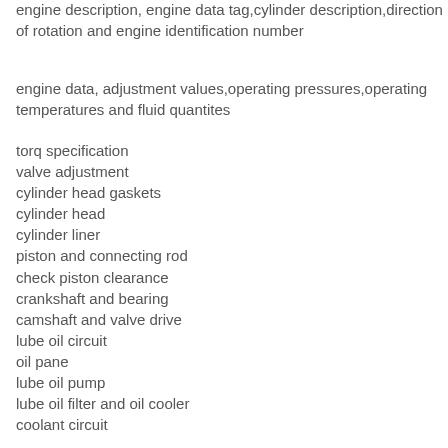engine description, engine data tag, cylinder description, direction of rotation and engine identification number
engine data, adjustment values, operating pressures, operating temperatures and fluid quantites
torq specification
valve adjustment
cylinder head gaskets
cylinder head
cylinder liner
piston and connecting rod
check piston clearance
crankshaft and bearing
camshaft and valve drive
lube oil circuit
oil pane
lube oil pump
lube oil filter and oil cooler
coolant circuit